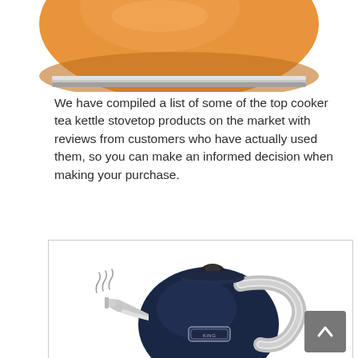[Figure (photo): Bottom portion of an orange/copper colored stovetop tea kettle, showing the base with a silver/chrome rim against a white background.]
We have compiled a list of some of the top cooker tea kettle stovetop products on the market with reviews from customers who have actually used them, so you can make an informed decision when making your purchase.
[Figure (photo): A dark navy blue stovetop whistling tea kettle with a chrome/silver handle, spout with steam whistler, and a small brand badge on the front, shown on a white background inside a bordered box. A back-to-top arrow button is visible in the bottom-right corner.]